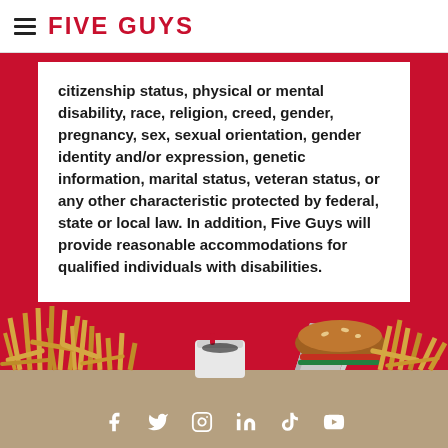FIVE GUYS
citizenship status, physical or mental disability, race, religion, creed, gender, pregnancy, sex, sexual orientation, gender identity and/or expression, genetic information, marital status, veteran status, or any other characteristic protected by federal, state or local law. In addition, Five Guys will provide reasonable accommodations for qualified individuals with disabilities.
[Figure (photo): Five Guys food photo showing fries, burger wrapped in foil, and a drink cup on a red background]
Social media icons: Facebook, Twitter, Instagram, LinkedIn, TikTok, YouTube